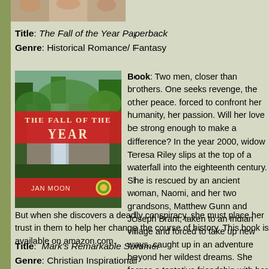[Figure (photo): Partial photo strip at top of page showing people]
Title: The Fall of the Year Paperback
Genre: Historical Romance/ Fantasy
[Figure (photo): Book cover of 'The Fall of the Year' by Jan Moon showing waterfall and forest scene with red banner]
Book: Two men, closer than brothers. One seeks revenge, the other peace. forced to confront her humanity, her passion. Will her love be strong enough to make a difference? In the year 2000, widow Teresa Riley slips at the top of a waterfall into the eighteenth century. She is rescued by an ancient woman, Naomi, and her two grandsons, Matthew Gunn and Joseph Brant, taken to an Indian village and forced to take up new ways, caught up in an adventure beyond her wildest dreams. She forges a tentative friendship with her captors. But when she discovers a deadly conspiracy, she must place her trust in them to help her change the course of history. This book is available on amazon.com.
Title: Mark's Remarkable Summer
Genre: Christian Inspirational